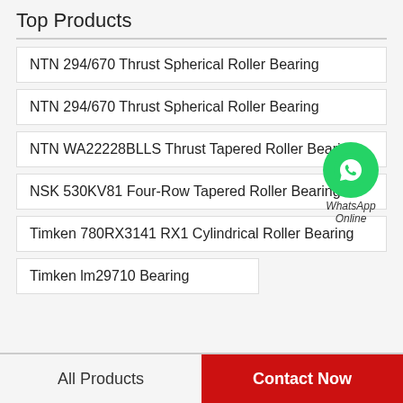Top Products
NTN 294/670 Thrust Spherical Roller Bearing
NTN 294/670 Thrust Spherical Roller Bearing
NTN WA22228BLLS Thrust Tapered Roller Bearing
NSK 530KV81 Four-Row Tapered Roller Bearing
Timken 780RX3141 RX1 Cylindrical Roller Bearing
Timken lm29710 Bearing
[Figure (logo): WhatsApp Online badge with green circle phone icon and italic text 'WhatsApp Online']
All Products   Contact Now